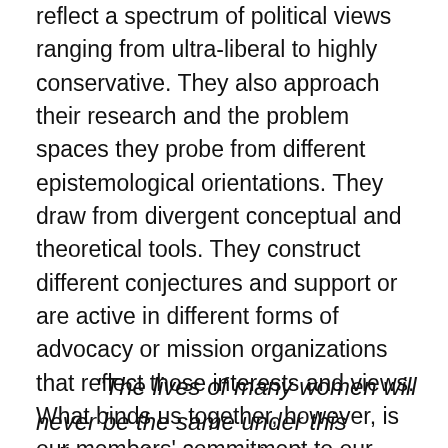reflect a spectrum of political views ranging from ultra-liberal to highly conservative. They also approach their research and the problem spaces they probe from different epistemological orientations. They draw from divergent conceptual and theoretical tools. They construct different conjectures and support or are active in different forms of advocacy or mission organizations that reflect those interests and views. What binds us together, however, is our members' commitment to our research mission—to advance knowledge in ways that embrace discussion and debate, that allow for and consider divergent questions and issues, and that arrive at research implications or applications based on the best of our knowledge at any point in time.
“The lives of many women will never be the same under this ruling, and our organizations